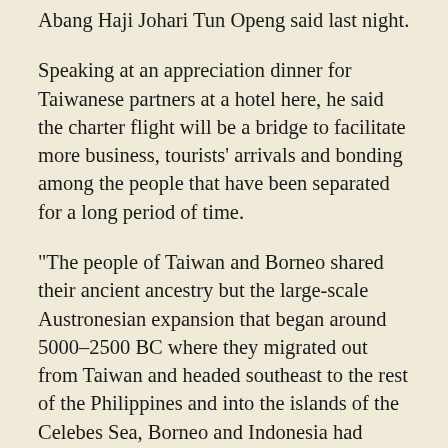Abang Haji Johari Tun Openg said last night.
Speaking at an appreciation dinner for Taiwanese partners at a hotel here, he said the charter flight will be a bridge to facilitate more business, tourists' arrivals and bonding among the people that have been separated for a long period of time.
“The people of Taiwan and Borneo shared their ancient ancestry but the large-scale Austronesian expansion that began around 5000–2500 BC where they migrated out from Taiwan and headed southeast to the rest of the Philippines and into the islands of the Celebes Sea, Borneo and Indonesia had separated us,” he added.
“It is time now to rekindle this ancestral lineage and I am pleased that our direction in the charter flight initiative is in the right direction  to bring back and foster better relationship between Taiwanese and Sarawakians,” he